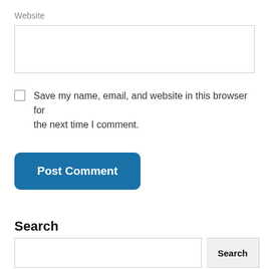Website
[Figure (screenshot): Text input field for Website URL]
Save my name, email, and website in this browser for the next time I comment.
Post Comment
Search
[Figure (screenshot): Search input field and Search button]